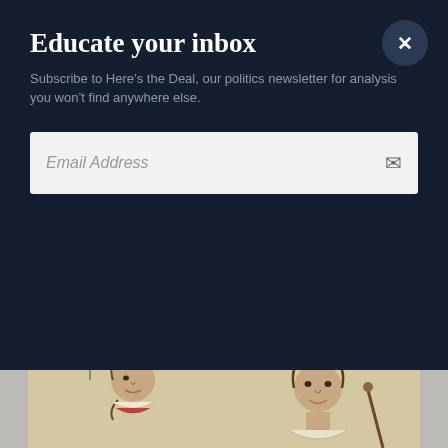Educate your inbox
Subscribe to Here's the Deal, our politics newsletter for analysis you won't find anywhere else.
Email Address
contains one of Austen's best one-liners, delivered when Lady Susan is caught out as an adulteress. Female friend Alicia Johnson declares to Lady Susan in sympathy, “Facts are such horrid things.”
[Figure (illustration): Vintage illustration of two women in Regency-era bonnets and hats, one holding a parasol]